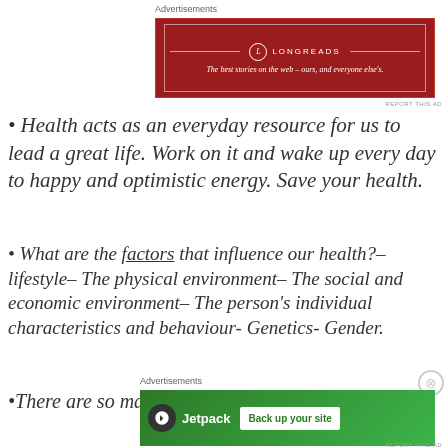Advertisements
[Figure (other): Longreads advertisement banner: red background with logo and tagline 'The best stories on the web – ours, and everyone else's.']
• Health acts as an everyday resource for us to lead a great life. Work on it and wake up every day to happy and optimistic energy. Save your health.
• What are the factors that influence our health?– lifestyle– The physical environment– The social and economic environment– The person's individual characteristics and behaviour- Genetics- Gender.
• There are so many aspects of health that we can't
Advertisements
[Figure (other): Jetpack advertisement banner: green background with Jetpack logo and 'Back up your site' button]